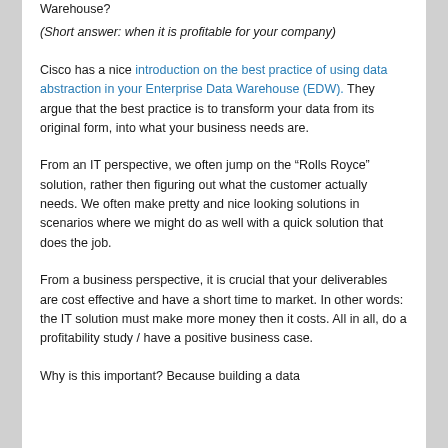Warehouse?
(Short answer: when it is profitable for your company)
Cisco has a nice introduction on the best practice of using data abstraction in your Enterprise Data Warehouse (EDW). They argue that the best practice is to transform your data from its original form, into what your business needs are.
From an IT perspective, we often jump on the “Rolls Royce” solution, rather then figuring out what the customer actually needs. We often make pretty and nice looking solutions in scenarios where we might do as well with a quick solution that does the job.
From a business perspective, it is crucial that your deliverables are cost effective and have a short time to market. In other words: the IT solution must make more money then it costs. All in all, do a profitability study / have a positive business case.
Why is this important? Because building a data